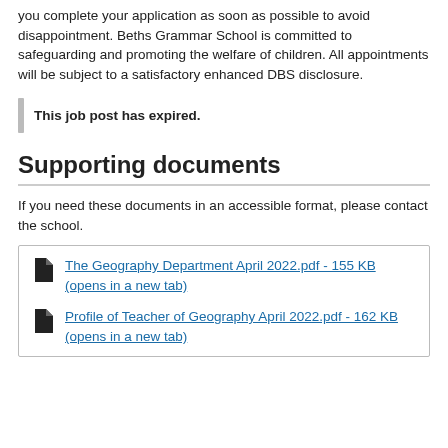you complete your application as soon as possible to avoid disappointment. Beths Grammar School is committed to safeguarding and promoting the welfare of children. All appointments will be subject to a satisfactory enhanced DBS disclosure.
This job post has expired.
Supporting documents
If you need these documents in an accessible format, please contact the school.
The Geography Department April 2022.pdf - 155 KB (opens in a new tab)
Profile of Teacher of Geography April 2022.pdf - 162 KB (opens in a new tab)